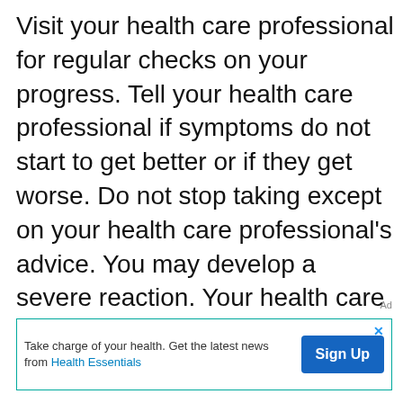Visit your health care professional for regular checks on your progress. Tell your health care professional if symptoms do not start to get better or if they get worse. Do not stop taking except on your health care professional's advice. You may develop a severe reaction. Your health care professional will tell you how much medicine to take.

This medicine may cause serious skin reactions. They can happen weeks to months after starting the medicine. Contact your health
Ad
[Figure (other): Advertisement banner with text 'Take charge of your health. Get the latest news from Health Essentials' and a blue 'Sign Up' button]